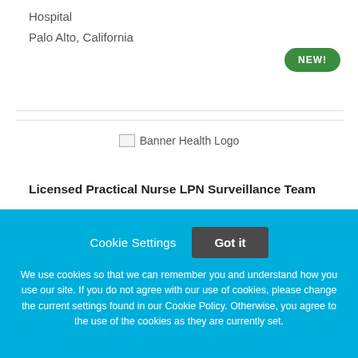Hospital
Palo Alto, California
[Figure (logo): Banner Health Logo placeholder image]
Licensed Practical Nurse LPN Surveillance Team
Cookie Settings   Got it

We use cookies so that we can remember you and understand how you use our site. If you do not agree with our use of cookies, please change the current settings found in our Cookie Policy. Otherwise, you agree to the use of the cookies as they are currently set.